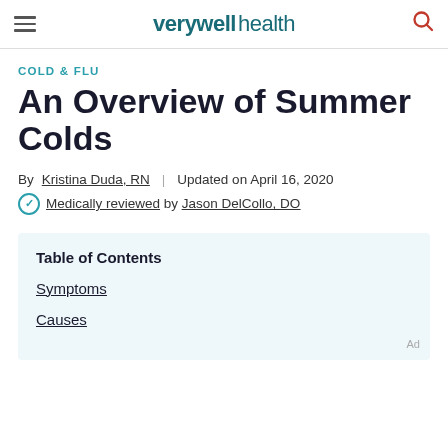verywell health
COLD & FLU
An Overview of Summer Colds
By Kristina Duda, RN | Updated on April 16, 2020
Medically reviewed by Jason DelCollo, DO
Table of Contents
Symptoms
Causes